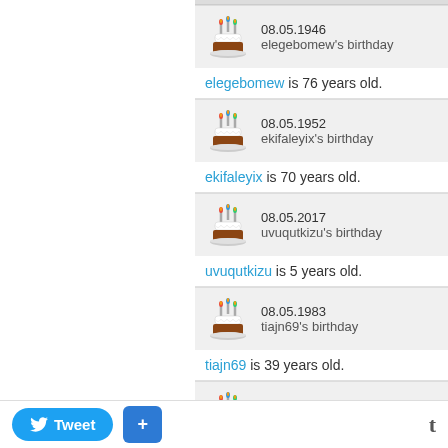08.05.1946 - elegebomew's birthday. elegebomew is 76 years old.
08.05.1952 - ekifaleyix's birthday. ekifaleyix is 70 years old.
08.05.2017 - uvuqutkizu's birthday. uvuqutkizu is 5 years old.
08.05.1983 - tiajn69's birthday. tiajn69 is 39 years old.
08.05.1944 - igamuba's birthday. igamuba is 78 years old.
08.05.1947 - julieti18's birthday.
Tweet + t